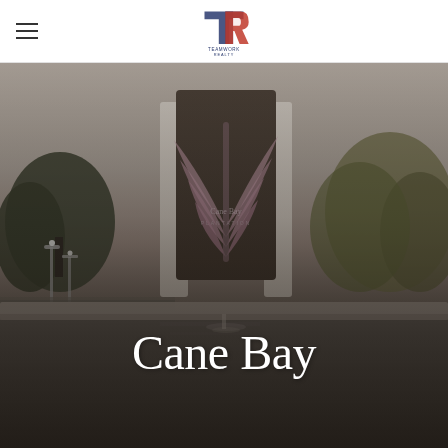Teamwork Realty logo and navigation header
[Figure (photo): Outdoor photo of Cane Bay Plantation sign monument — a dark rectangular pillar with decorative plant/palm frond motif, flanked by a reflecting pool/fountain, with trees and dusk sky in background.]
Cane Bay